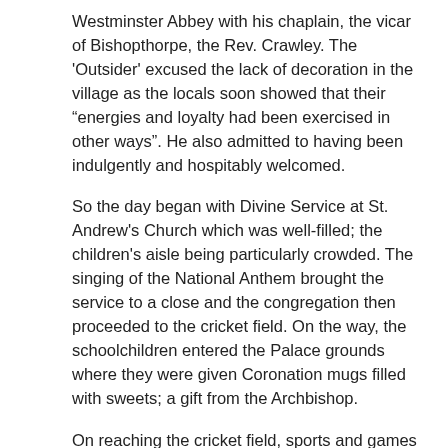Westminster Abbey with his chaplain, the vicar of Bishopthorpe, the Rev. Crawley.  The 'Outsider' excused the lack of decoration in the village as the locals soon showed that their "energies and loyalty had been exercised in other ways".  He also admitted to having been indulgently and hospitably welcomed.
So the day began with Divine Service at St. Andrew's Church which was well-filled; the children's aisle being particularly crowded.  The singing of the National Anthem brought the service to a close and the congregation then proceeded to the cricket field.  On the way, the schoolchildren entered the Palace grounds where they were given Coronation mugs filled with sweets; a gift from the Archbishop.
On reaching the cricket field, sports and games followed thick and fast.  The tiny “dots” under the age of five ran the first race “manfully in the blustering wind.”  The little girl who was blown in first won a doll.  Race after race followed with children winning tops, building bricks and teddy bears.  Disaster struck only one yard from home when the two leading girls in the three-legged race lost the handkerchief which tied their legs together. As a result, they were disqualified.